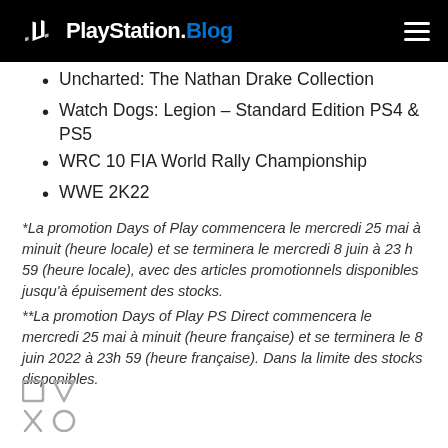PlayStation.Blog
Uncharted: The Nathan Drake Collection
Watch Dogs: Legion – Standard Edition PS4 & PS5
WRC 10 FIA World Rally Championship
WWE 2K22
*La promotion Days of Play commencera le mercredi 25 mai à minuit (heure locale) et se terminera le mercredi 8 juin à 23 h 59 (heure locale), avec des articles promotionnels disponibles jusqu'à épuisement des stocks.
**La promotion Days of Play PS Direct commencera le mercredi 25 mai à minuit (heure française) et se terminera le 8 juin 2022 à 23h 59 (heure française). Dans la limite des stocks disponibles.
[Figure (logo): PlayStation button icons logo (square, triangle, cross, circle)]